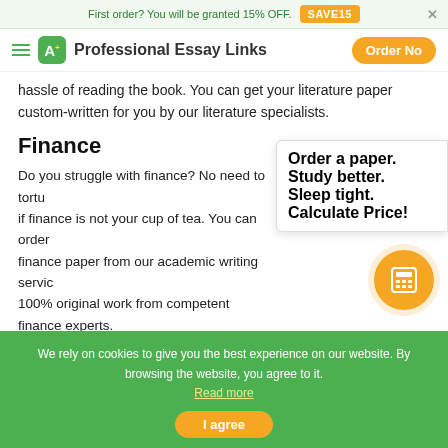First order? You will be granted 15% OFF. SAVE15
Professional Essay Links  Order Now
hassle of reading the book. You can get your literature paper custom-written for you by our literature specialists.
Finance
Do you struggle with finance? No need to torture yourself if finance is not your cup of tea. You can order a finance paper from our academic writing service and get 100% original work from competent finance experts.
[Figure (infographic): Popup card with text 'Order a paper. Study better. Sleep tight.' and orange 'Calculate Price!' link, with an orange calculator circle icon below.]
Computer science
We rely on cookies to give you the best experience on our website. By browsing the website, you agree to it. Read more
I agree